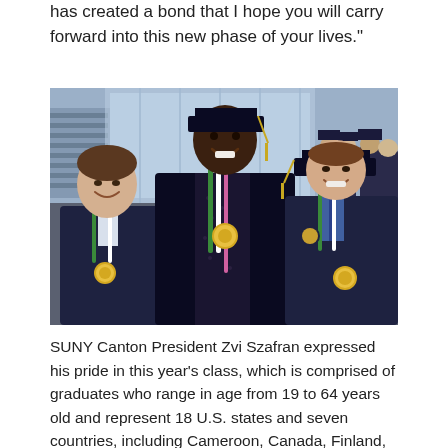has created a bond that I hope you will carry forward into this new phase of your lives."
[Figure (photo): Three smiling graduates in navy blue caps and gowns holding gold medals, wearing green and white honor cords/medallions, posing at a graduation ceremony indoors.]
SUNY Canton President Zvi Szafran expressed his pride in this year's class, which is comprised of graduates who range in age from 19 to 64 years old and represent 18 U.S. states and seven countries, including Cameroon, Canada, Finland, Saudi Arabia, Sweden, and the U.K.